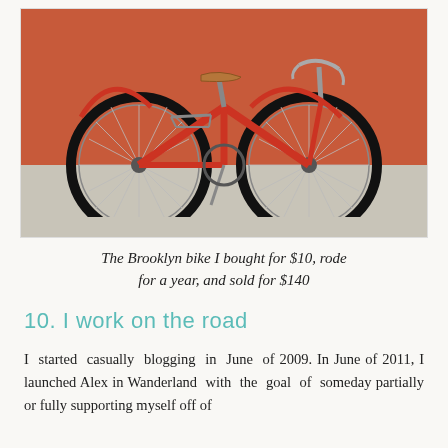[Figure (photo): A red vintage-style bicycle leaning on a kickstand against a red/orange wall, with a concrete sidewalk below. The bike has a brown leather seat and chrome handlebars.]
The Brooklyn bike I bought for $10, rode for a year, and sold for $140
10. I work on the road
I started casually blogging in June of 2009. In June of 2011, I launched Alex in Wanderland with the goal of someday partially or fully supporting myself off of